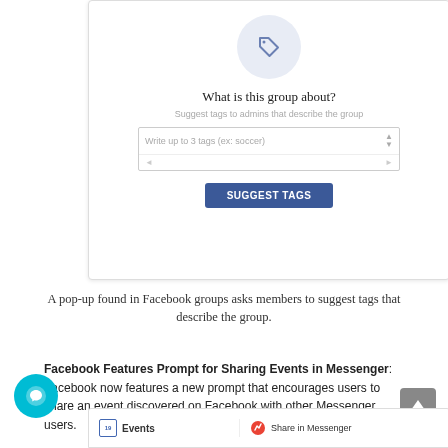[Figure (screenshot): A Facebook group pop-up interface showing a tag icon, 'What is this group about?' heading, 'Suggest tags to admins that describe the group' subtitle, a text input field 'Write up to 3 tags (ex: soccer)', and a blue 'Suggest Tags' button]
A pop-up found in Facebook groups asks members to suggest tags that describe the group.
Facebook Features Prompt for Sharing Events in Messenger: Facebook now features a new prompt that encourages users to share an event discovered on Facebook with other Messenger users.
[Figure (screenshot): Bottom strip of a Facebook screenshot showing Events section on the left and 'Share in Messenger' option on the right with a Messenger icon]